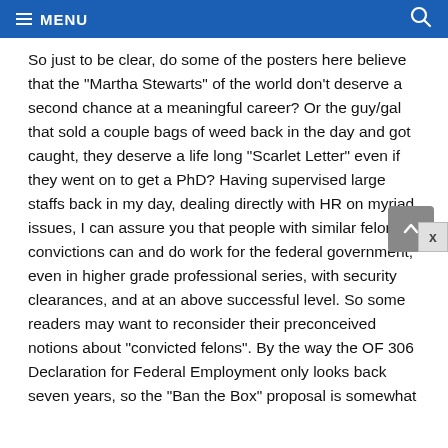MENU
So just to be clear, do some of the posters here believe that the "Martha Stewarts" of the world don't deserve a second chance at a meaningful career? Or the guy/gal that sold a couple bags of weed back in the day and got caught, they deserve a life long "Scarlet Letter" even if they went on to get a PhD? Having supervised large staffs back in my day, dealing directly with HR on myriad issues, I can assure you that people with similar felony convictions can and do work for the federal government, even in higher grade professional series, with security clearances, and at an above successful level. So some readers may want to reconsider their preconceived notions about "convicted felons". By the way the OF 306 Declaration for Federal Employment only looks back seven years, so the "Ban the Box" proposal is somewhat